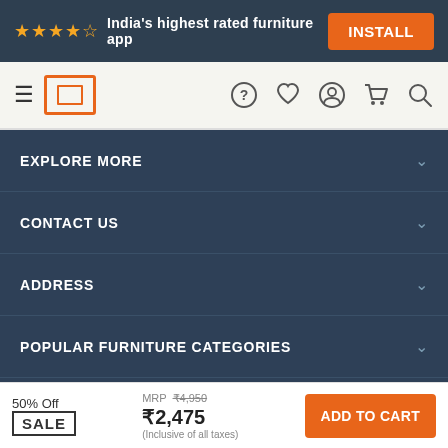[Figure (screenshot): App install banner with star rating and install button]
[Figure (screenshot): Navigation bar with hamburger menu, logo, and icons]
EXPLORE MORE
CONTACT US
ADDRESS
POPULAR FURNITURE CATEGORIES
SHOP FURNITURE BY ROOM
POPULAR DECOR CATEGORIES
50% Off SALE | MRP ₹4,950 ₹2,475 (Inclusive of all taxes) ADD TO CART